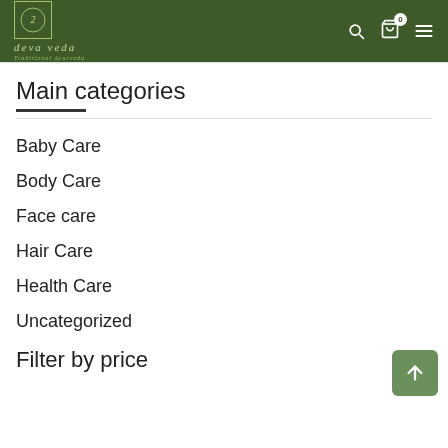deva veda — Traditional Ayurveda
Main categories
Baby Care
Body Care
Face care
Hair Care
Health Care
Uncategorized
Filter by price